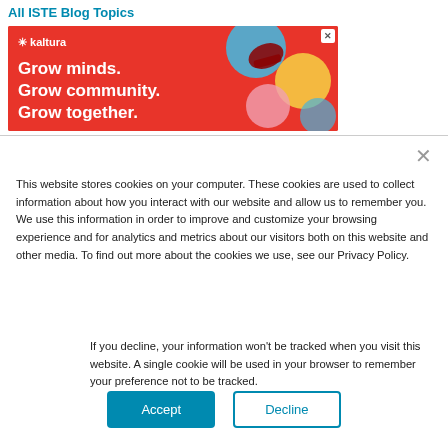All ISTE Blog Topics
[Figure (illustration): Kaltura advertisement banner with red background showing 'Grow minds. Grow community. Grow together.' text and partial shoe image with colorful circles]
This website stores cookies on your computer. These cookies are used to collect information about how you interact with our website and allow us to remember you. We use this information in order to improve and customize your browsing experience and for analytics and metrics about our visitors both on this website and other media. To find out more about the cookies we use, see our Privacy Policy.
If you decline, your information won't be tracked when you visit this website. A single cookie will be used in your browser to remember your preference not to be tracked.